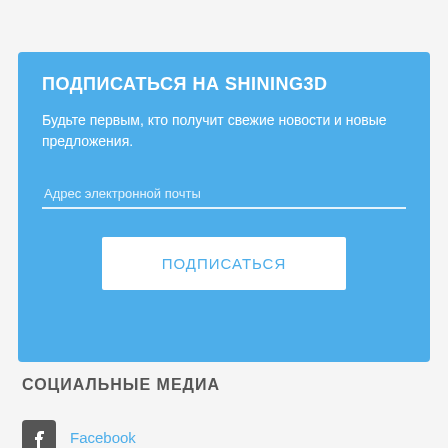ПОДПИСАТЬСЯ НА SHINING3D
Будьте первым, кто получит свежие новости и новые предложения.
Адрес электронной почты
ПОДПИСАТЬСЯ
СОЦИАЛЬНЫЕ МЕДИА
Facebook
Instagram